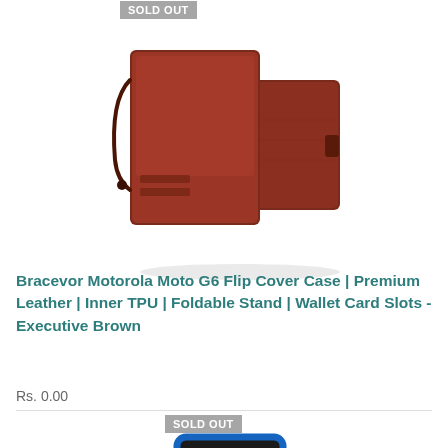[Figure (photo): Brown leather flip cover wallet case for Motorola Moto G6 with strap, shown open and closed, with SOLD OUT badge]
Bracevor Motorola Moto G6 Flip Cover Case | Premium Leather | Inner TPU | Foldable Stand | Wallet Card Slots - Executive Brown
Rs. 0.00
[Figure (photo): Blue and black rugged armor case for Motorola Moto G6 Plus with kickstand, shown from back, with SOLD OUT badge]